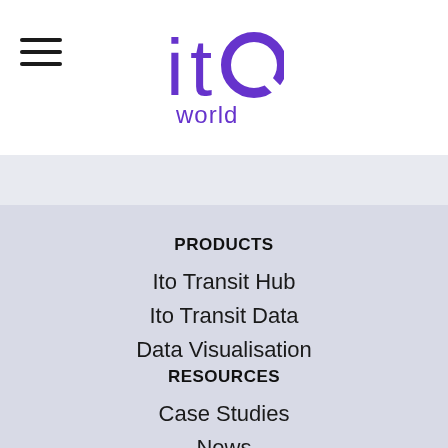[Figure (logo): ITO World logo — stylized 'ito' text in purple with a circular 'o', and 'world' below in purple, centered in the header]
PRODUCTS
Ito Transit Hub
Ito Transit Data
Data Visualisation
RESOURCES
Case Studies
News
Articles